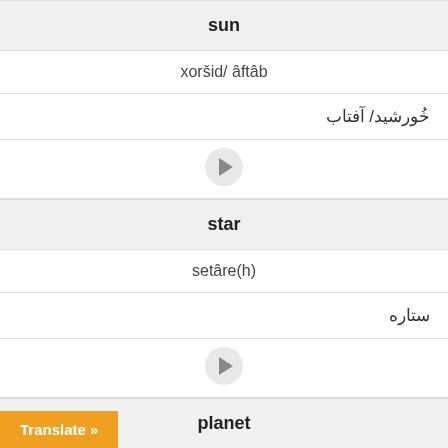sun
xoršid/ âftâb
خُورشید/ آفتاب
[Figure (other): Play audio button (circular)]
star
setâre(h)
ستاره
[Figure (other): Play audio button (circular)]
planet
Translate »